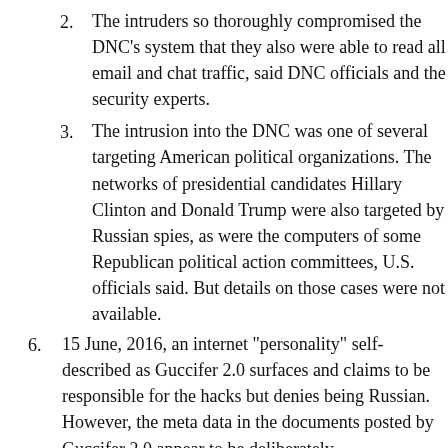2. The intruders so thoroughly compromised the DNC's system that they also were able to read all email and chat traffic, said DNC officials and the security experts.
3. The intrusion into the DNC was one of several targeting American political organizations. The networks of presidential candidates Hillary Clinton and Donald Trump were also targeted by Russian spies, as were the computers of some Republican political action committees, U.S. officials said. But details on those cases were not available.
6. 15 June, 2016, an internet "personality" self-described as Guccifer 2.0 surfaces and claims to be responsible for the hacks but denies being Russian. However, the meta data in the documents posted by Guccifer 2.0 appear to be deliberately